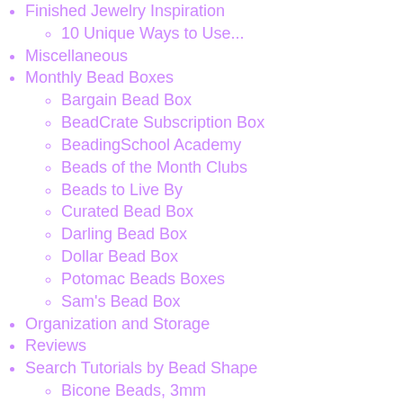Finished Jewelry Inspiration
10 Unique Ways to Use...
Miscellaneous
Monthly Bead Boxes
Bargain Bead Box
BeadCrate Subscription Box
BeadingSchool Academy
Beads of the Month Clubs
Beads to Live By
Curated Bead Box
Darling Bead Box
Dollar Bead Box
Potomac Beads Boxes
Sam's Bead Box
Organization and Storage
Reviews
Search Tutorials by Bead Shape
Bicone Beads, 3mm
Bicone Beads, 4mm
Bicone Beads, 6mm
Bugle Beads, 12mm
Bugle Beads, 6mm